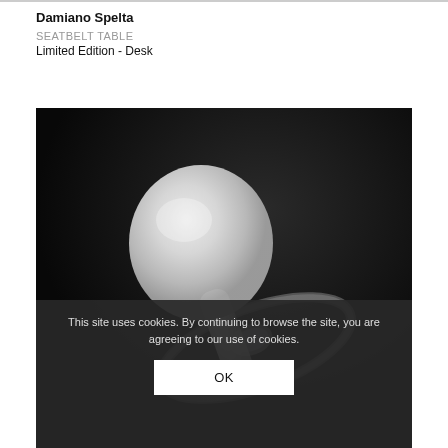Damiano Spelta
SEATBELT TABLE
Limited Edition - Desk
[Figure (photo): Close-up product photo of a glass/crystal object resembling a pacifier shape — a frosted spherical top with a clear acrylic ring base — on a dark black background.]
This site uses cookies. By continuing to browse the site, you are agreeing to our use of cookies.